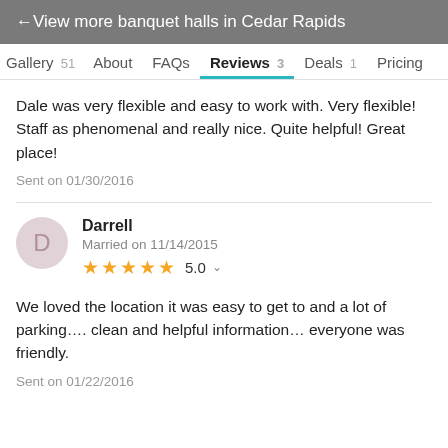← View more banquet halls in Cedar Rapids
Gallery 51   About   FAQs   Reviews 3   Deals 1   Pricing
Dale was very flexible and easy to work with. Very flexible! Staff as phenomenal and really nice. Quite helpful! Great place!
Sent on 01/30/2016
Darrell
Married on 11/14/2015
★★★★★ 5.0
We loved the location it was easy to get to and a lot of parking.... clean and helpful information... everyone was friendly.
Sent on 01/22/2016